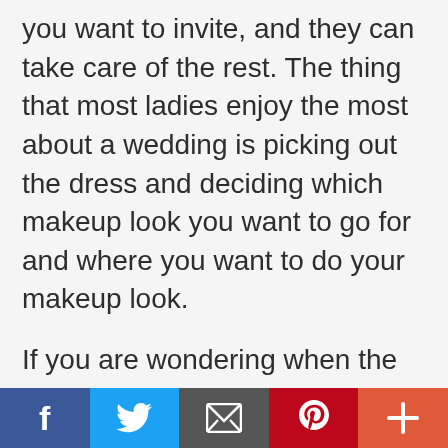you want to invite, and they can take care of the rest. The thing that most ladies enjoy the most about a wedding is picking out the dress and deciding which makeup look you want to go for and where you want to do your makeup look.
If you are wondering when the right time to start planning out your dress and makeup for the wedding is, well, the answer is simple. You should not buy your wedding dress too soon (too soon as in 5 months prior to the
[Figure (infographic): Social media sharing bar with five buttons: Facebook (blue), Twitter (light blue), Email/envelope (dark grey), Pinterest (red), and Plus/more (orange-red)]